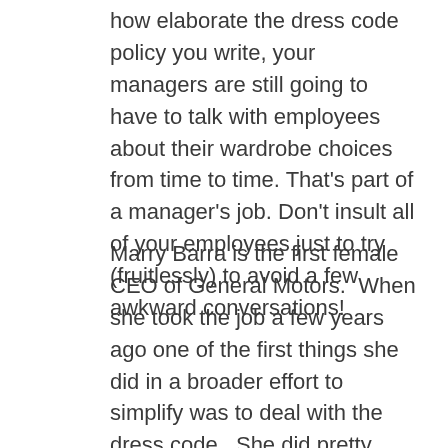how elaborate the dress code policy you write, your managers are still going to have to talk with employees about their wardrobe choices from time to time. That's part of a manager's job. Don't insult all of your employees just to try (fruitlessly) to avoid a few awkward conversations!
Marry Barra is the first female CEO of General Motors.  When she took the job a few years ago one of the first things she did in a broader effort to simplify was to deal with the dress code.  She did pretty much exactly this.  A 26-page dress code policy was replaced by just two words: Dress appropriately! This is a further extension of